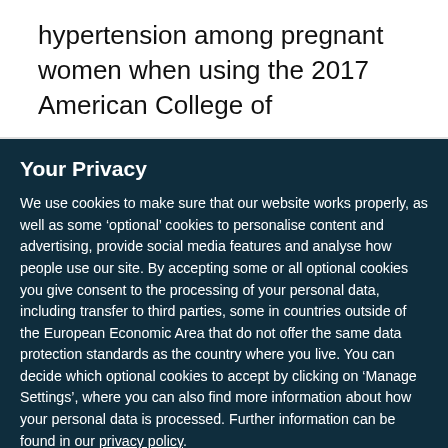hypertension among pregnant women when using the 2017 American College of
Your Privacy
We use cookies to make sure that our website works properly, as well as some ‘optional’ cookies to personalise content and advertising, provide social media features and analyse how people use our site. By accepting some or all optional cookies you give consent to the processing of your personal data, including transfer to third parties, some in countries outside of the European Economic Area that do not offer the same data protection standards as the country where you live. You can decide which optional cookies to accept by clicking on ‘Manage Settings’, where you can also find more information about how your personal data is processed. Further information can be found in our privacy policy.
Accept all cookies
Manage preferences